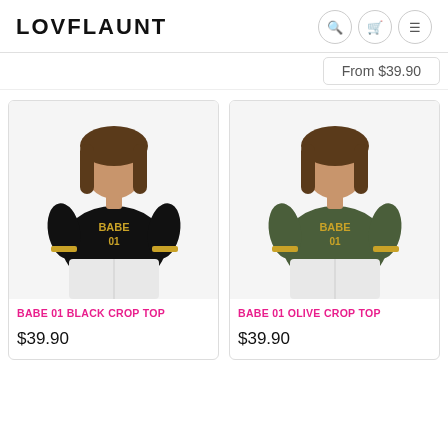LOVFLAUNT
From $39.90
[Figure (photo): Woman wearing a black crop top with gold 'BABE 01' sequin lettering and gold stripe sleeves, paired with white jeans]
BABE 01 BLACK CROP TOP
$39.90
[Figure (photo): Woman wearing an olive green crop top with gold 'BABE 01' sequin lettering and gold stripe sleeves, paired with white jeans]
BABE 01 OLIVE CROP TOP
$39.90